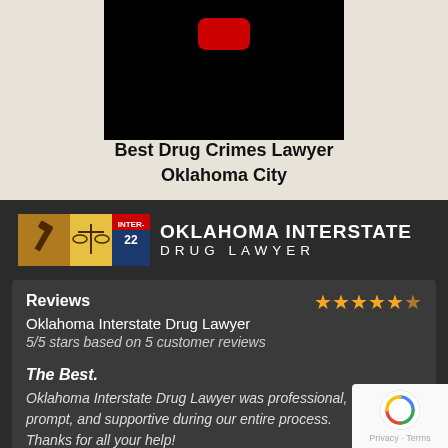[Figure (screenshot): Video thumbnail with black background and red YouTube play button on beige/cream background]
Best Drug Crimes Lawyer
Oklahoma City
[Figure (logo): Oklahoma Interstate Drug Lawyer logo with gavel/scales icon, interstate highway shield, and bold white text]
Reviews
Oklahoma Interstate Drug Lawyer
5/5 stars based on 5 customer reviews
The Best.
Oklahoma Interstate Drug Lawyer was professional, prompt, and supportive during our entire process. Thanks for all your help!